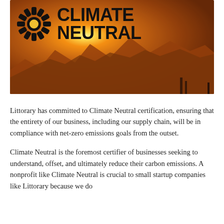[Figure (photo): Sunset/sunrise over mountains with warm orange and golden tones. Overlaid with the Climate Neutral logo: a stylized sun (rays radiating from center circle) on the left, and bold text 'CLIMATE NEUTRAL' on the right, all in black.]
Littorary has committed to Climate Neutral certification, ensuring that the entirety of our business, including our supply chain, will be in compliance with net-zero emissions goals from the outset.
Climate Neutral is the foremost certifier of businesses seeking to understand, offset, and ultimately reduce their carbon emissions. A nonprofit like Climate Neutral is crucial to small startup companies like Littorary because we do